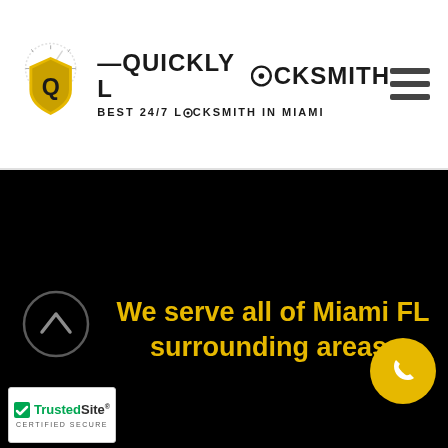[Figure (logo): Quickly Locksmith logo with shield icon, speedometer graphic, brand name and tagline 'BEST 24/7 LOCKSMITH IN MIAMI', and hamburger menu icon]
[Figure (photo): Dark/black background section showing a Miami FL city scene at night (very dark)]
We serve all of Miami FL surrounding areas:
[Figure (other): TrustedSite CERTIFIED SECURE badge in bottom left corner]
[Figure (other): Yellow circular phone call button in bottom right corner]